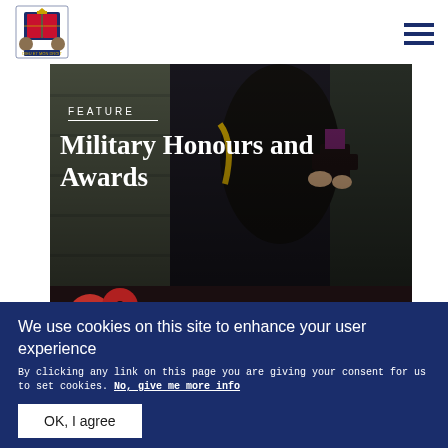[Figure (logo): Royal coat of arms / official UK government crest logo in blue]
[Figure (photo): Hero banner photo of a military officer in uniform holding a medal or award, dark background with stone wall]
FEATURE
Military Honours and Awards
[Figure (photo): Second photo strip showing red poppies]
We use cookies on this site to enhance your user experience
By clicking any link on this page you are giving your consent for us to set cookies. No, give me more info
OK, I agree